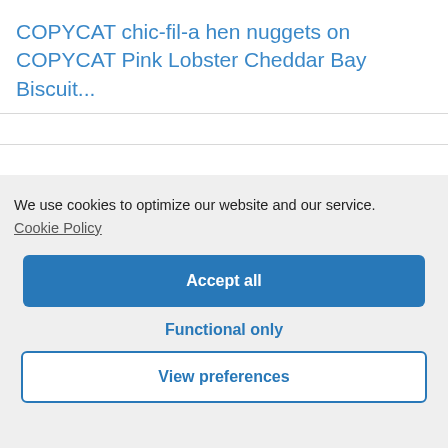COPYCAT chic-fil-a hen nuggets on COPYCAT Pink Lobster Cheddar Bay Biscuit...
We use cookies to optimize our website and our service.
Cookie Policy
Accept all
Functional only
View preferences